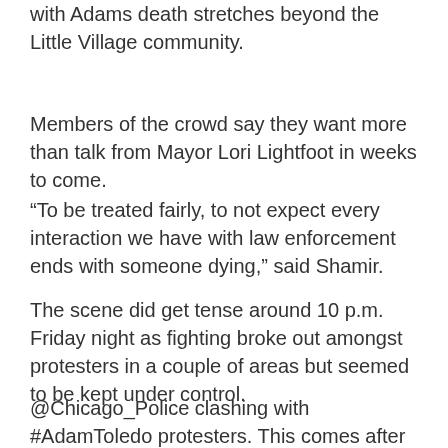with Adams death stretches beyond the Little Village community.
Members of the crowd say they want more than talk from Mayor Lori Lightfoot in weeks to come.
“To be treated fairly, to not expect every interaction we have with law enforcement ends with someone dying,” said Shamir.
The scene did get tense around 10 p.m. Friday night as fighting broke out amongst protesters in a couple of areas but seemed to be kept under control.
@Chicago_Police clashing with #AdamToledo protesters. This comes after the group marched for hours in Logan Square. @cbschicago pic.twitter.com/vJSeiblIgt